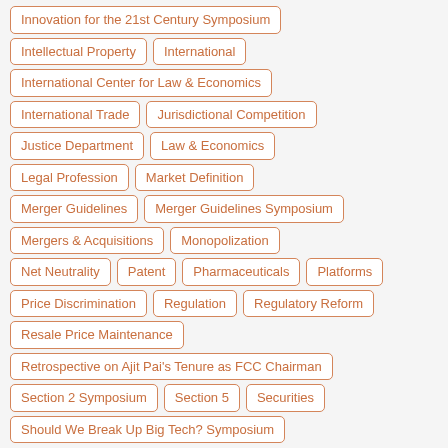Innovation for the 21st Century Symposium
Intellectual Property
International
International Center for Law & Economics
International Trade
Jurisdictional Competition
Justice Department
Law & Economics
Legal Profession
Market Definition
Merger Guidelines
Merger Guidelines Symposium
Mergers & Acquisitions
Monopolization
Net Neutrality
Patent
Pharmaceuticals
Platforms
Price Discrimination
Regulation
Regulatory Reform
Resale Price Maintenance
Retrospective on Ajit Pai's Tenure as FCC Chairman
Section 2 Symposium
Section 5
Securities
Should We Break Up Big Tech? Symposium